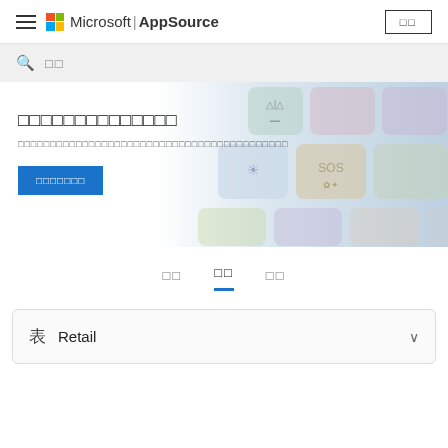Microsoft | AppSource
□□
□□□□□□□□□□□□□□
□□□□□□□□□□□□□□□□□□□□□□□□□□□□□□□□□□□□□□□□□□
□□□□□□□
□□
□□
□□
Retail